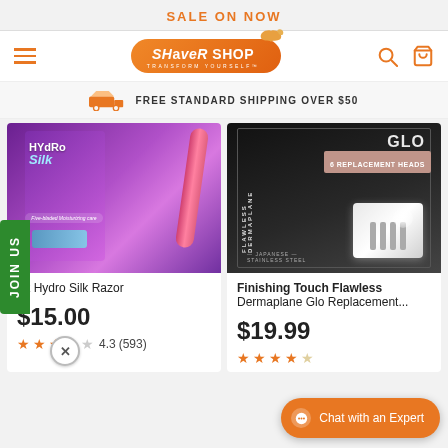SALE ON NOW
[Figure (logo): Shaver Shop logo with orange pill-shaped background and bird graphic, with tagline TRANSFORM YOURSELF]
FREE STANDARD SHIPPING OVER $50
[Figure (photo): Schick Hydro Silk Razor product image on purple/pink packaging]
ck Hydro Silk Razor
$15.00
4.3  (593)
[Figure (photo): Finishing Touch Flawless Dermaplane Glo Replacement Heads product box - black packaging with 6 replacement heads]
Finishing Touch Flawless Dermaplane Glo Replacement...
$19.99